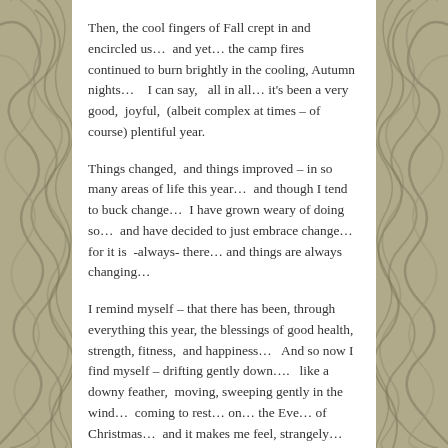[Figure (illustration): Decorative wave/swirl pattern in olive/taupe tones forming left side border]
[Figure (illustration): Decorative wave/swirl pattern in olive/taupe tones forming right side border]
Then, the cool fingers of Fall crept in and encircled us…  and yet… the camp fires continued to burn brightly in the cooling, Autumn nights…    I can say,   all in all… it's been a very good,  joyful,  (albeit complex at times – of course) plentiful year.
Things changed,  and things improved – in so many areas of life this year…  and though I tend to buck change…  I have grown weary of doing so…  and have decided to just embrace change…  for it is  -always- there… and things are always changing…
I remind myself – that there has been, through everything this year, the blessings of good health, strength, fitness,  and happiness…   And so now I find myself – drifting gently down….   like a downy feather,  moving, sweeping gently in the wind…  coming to rest… on… the Eve… of  Christmas…  and it makes me feel, strangely…  rarely,  still.